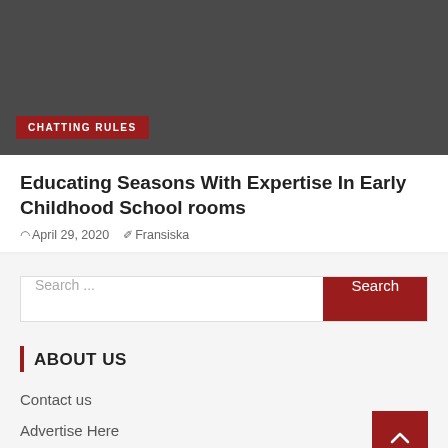[Figure (photo): Dark gray background image placeholder]
CHATTING RULES
Educating Seasons With Expertise In Early Childhood School rooms
April 29, 2020   Fransiska
Search ...
ABOUT US
Contact us
Advertise Here
Disclosure Policy